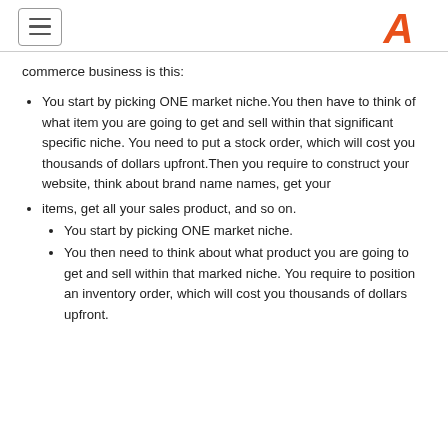[menu icon] [logo A]
commerce business is this:
You start by picking ONE market niche.You then have to think of what item you are going to get and sell within that significant specific niche. You need to put a stock order, which will cost you thousands of dollars upfront.Then you require to construct your website, think about brand name names, get your
items, get all your sales product, and so on.
You start by picking ONE market niche.
You then need to think about what product you are going to get and sell within that marked niche. You require to position an inventory order, which will cost you thousands of dollars upfront.